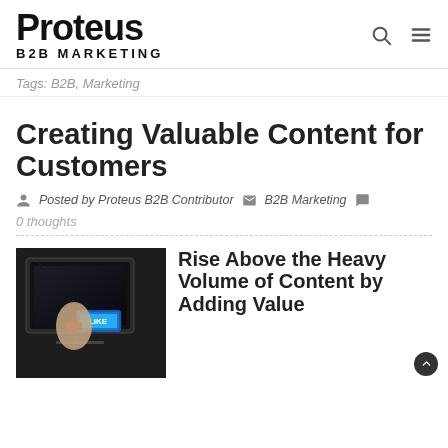Proteus B2B MARKETING
Tags: B2B, Marketing
Creating Valuable Content for Customers
Posted by Proteus B2B Contributor   B2B Marketing
0 thoughts
[Figure (photo): Hand pressing a blue LIKE button on a dark touchscreen device]
Rise Above the Heavy Volume of Content by Adding Value